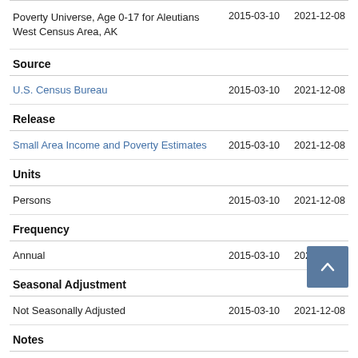|  | 2015-03-10 | 2021-12-08 |
| --- | --- | --- |
| Poverty Universe, Age 0-17 for Aleutians West Census Area, AK | 2015-03-10 | 2021-12-08 |
Source
|  | 2015-03-10 | 2021-12-08 |
| --- | --- | --- |
| U.S. Census Bureau | 2015-03-10 | 2021-12-08 |
Release
|  | 2015-03-10 | 2021-12-08 |
| --- | --- | --- |
| Small Area Income and Poverty Estimates | 2015-03-10 | 2021-12-08 |
Units
|  | 2015-03-10 | 2021-12-08 |
| --- | --- | --- |
| Persons | 2015-03-10 | 2021-12-08 |
Frequency
|  | 2015-03-10 | 2021-12-08 |
| --- | --- | --- |
| Annual | 2015-03-10 | 2021-12-08 |
Seasonal Adjustment
|  | 2015-03-10 | 2021-12-08 |
| --- | --- | --- |
| Not Seasonally Adjusted | 2015-03-10 | 2021-12-08 |
Notes